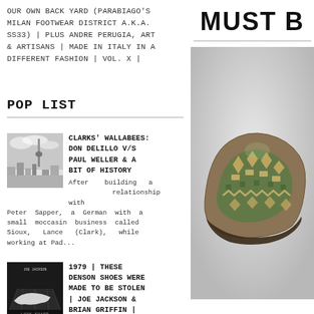OUR OWN BACK YARD (PARABIAGO'S MILAN FOOTWEAR DISTRICT A.K.A. SS33) | PLUS ANDRE PERUGIA, ART & ARTISANS | MADE IN ITALY IN A DIFFERENT FASHION | VOL. X |
MUST B
POP LIST
[Figure (photo): Black and white photo of a city skyline with a tall tower]
CLARKS' WALLABEES: DON DELILLO V/S PAUL WELLER & A BIT OF HISTORY
After building a relationship with Peter Sapper, a German with a small moccasin business called Sioux, Lance (Clark), while working at Pad...
[Figure (photo): Black and white album cover for Joe Jackson 'Look Sharp!' featuring a shoe]
1979 | THESE DENSON SHOES WERE MADE TO BE STOLEN | JOE JACKSON & BRIAN GRIFFIN | TBAMFW # 15
Segnalato nella primissima serie
[Figure (photo): Colorful patterned shoe with green and tan Aztec/geometric design on a light grey background]